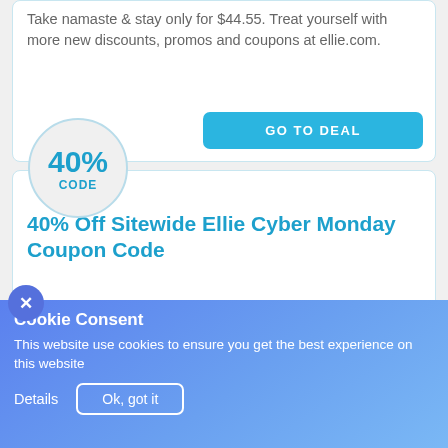Take namaste & stay only for $44.55. Treat yourself with more new discounts, promos and coupons at ellie.com.
GO TO DEAL
[Figure (infographic): 40% CODE badge circle]
40% Off Sitewide Ellie Cyber Monday Coupon Code
Get 40% off on your first box by applying this coupon code at checkout page.
Cookie Consent
This website use cookies to ensure you get the best experience on this website
Details  Ok, got it